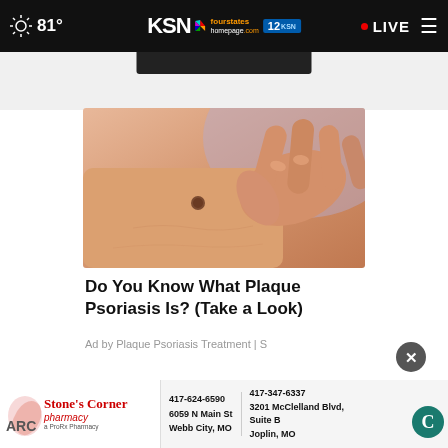81° KSN fourstates homepage .com 12 • LIVE
[Figure (screenshot): Dark video thumbnail bar near top center]
[Figure (photo): Close-up photo of a hand scratching skin, depicting a skin condition (plaque psoriasis advertisement image)]
Do You Know What Plaque Psoriasis Is? (Take a Look)
Ad by Plaque Psoriasis Treatment | S
[Figure (logo): Stone's Corner Pharmacy advertisement with contact info: 417-624-6590, 6059 N Main St, Webb City, MO and 417-347-6337, 3201 McClelland Blvd, Suite B, Joplin, MO]